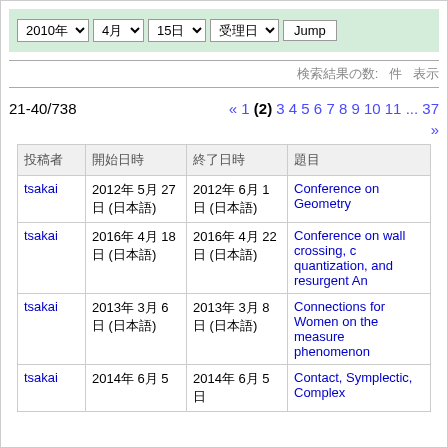2010年 ▾ 4月 ▾ 15日 ▾ 受理日 ▾ Jump
検索結果の数: 件 表示
21-40/738
« 1 (2) 3 4 5 6 7 8 9 10 11 ... 37 »
| 投稿者 | 開始日時 | 終了日時 | 題目 |
| --- | --- | --- | --- |
| tsakai | 2012年 5月 27日 (日本語) | 2012年 6月 1日 (日本語) | Conference on Geometry |
| tsakai | 2016年 4月 18日 (日本語) | 2016年 4月 22日 (日本語) | Conference on wall crossing, c quantization, and resurgent An |
| tsakai | 2013年 3月 6日 (日本語) | 2013年 3月 8日 (日本語) | Connections for Women on the measure phenomenon |
| tsakai | 2014年 6月 5 | 2014年 6月 5日 | Contact, Symplectic, Complex |